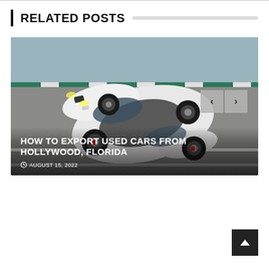RELATED POSTS
[Figure (photo): Aerial/top-down view of a white BMW 3 Series sedan on a racing circuit with green and grey surroundings. Navigation arrows (< >) overlay the top-right corner of the image.]
HOW TO EXPORT USED CARS FROM HOLLYWOOD, FLORIDA
AUGUST 15, 2022